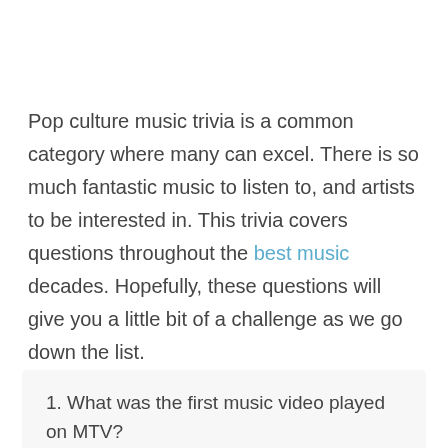Pop culture music trivia is a common category where many can excel. There is so much fantastic music to listen to, and artists to be interested in. This trivia covers questions throughout the best music decades. Hopefully, these questions will give you a little bit of a challenge as we go down the list.
1. What was the first music video played on MTV?